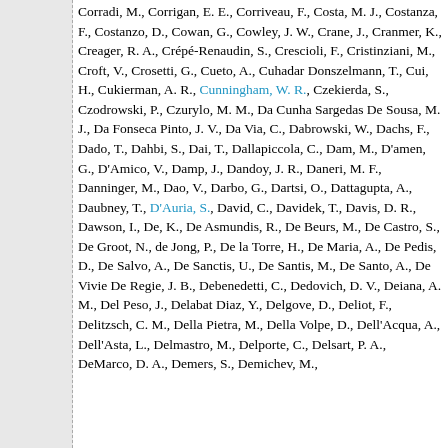Corradi, M., Corrigan, E. E., Corriveau, F., Costa, M. J., Costanza, F., Costanzo, D., Cowan, G., Cowley, J. W., Crane, J., Cranmer, K., Creager, R. A., Crépé-Renaudin, S., Crescioli, F., Cristinziani, M., Croft, V., Crosetti, G., Cueto, A., Cuhadar Donszelmann, T., Cui, H., Cukierman, A. R., Cunningham, W. R., Czekierda, S., Czodrowski, P., Czurylo, M. M., Da Cunha Sargedas De Sousa, M. J., Da Fonseca Pinto, J. V., Da Via, C., Dabrowski, W., Dachs, F., Dado, T., Dahbi, S., Dai, T., Dallapiccola, C., Dam, M., D'amen, G., D'Amico, V., Damp, J., Dandoy, J. R., Daneri, M. F., Danninger, M., Dao, V., Darbo, G., Dartsi, O., Dattagupta, A., Daubney, T., D'Auria, S., David, C., Davidek, T., Davis, D. R., Dawson, I., De, K., De Asmundis, R., De Beurs, M., De Castro, S., De Groot, N., de Jong, P., De la Torre, H., De Maria, A., De Pedis, D., De Salvo, A., De Sanctis, U., De Santis, M., De Santo, A., De Vivie De Regie, J. B., Debenedetti, C., Dedovich, D. V., Deiana, A. M., Del Peso, J., Delabat Diaz, Y., Delgove, D., Deliot, F., Delitzsch, C. M., Della Pietra, M., Della Volpe, D., Dell'Acqua, A., Dell'Asta, L., Delmastro, M., Delporte, C., Delsart, P. A., DeMarco, D. A., Demers, S., Demichev, M.,